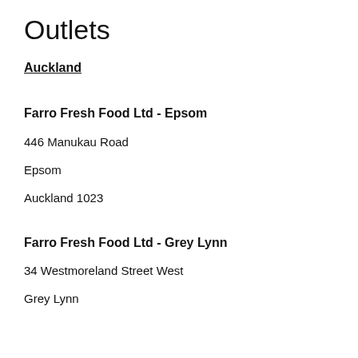Outlets
Auckland
Farro Fresh Food Ltd - Epsom
446 Manukau Road
Epsom
Auckland 1023
Farro Fresh Food Ltd - Grey Lynn
34 Westmoreland Street West
Grey Lynn